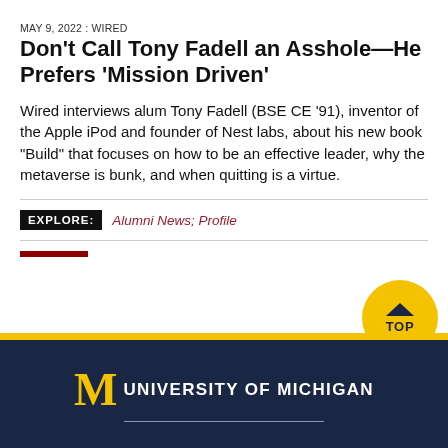MAY 9, 2022 : WIRED
Don’t Call Tony Fadell an Asshole—He Prefers ‘Mission Driven’
Wired interviews alum Tony Fadell (BSE CE ‘91), inventor of the Apple iPod and founder of Nest labs, about his new book "Build" that focuses on how to be an effective leader, why the metaverse is bunk, and when quitting is a virtue.
EXPLORE: Alumni News; Profile
[Figure (logo): University of Michigan footer logo with block M and text UNIVERSITY OF MICHIGAN on dark navy background with gold stripe]